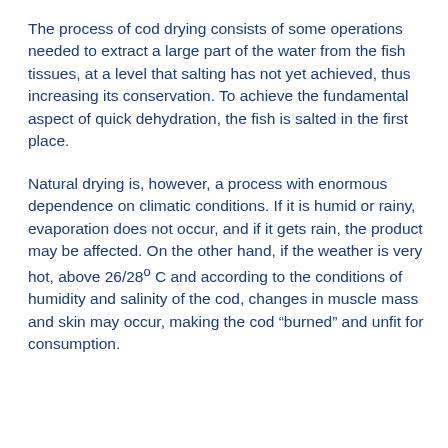The process of cod drying consists of some operations needed to extract a large part of the water from the fish tissues, at a level that salting has not yet achieved, thus increasing its conservation. To achieve the fundamental aspect of quick dehydration, the fish is salted in the first place.
Natural drying is, however, a process with enormous dependence on climatic conditions. If it is humid or rainy, evaporation does not occur, and if it gets rain, the product may be affected. On the other hand, if the weather is very hot, above 26/28° C and according to the conditions of humidity and salinity of the cod, changes in muscle mass and skin may occur, making the cod “burned” and unfit for consumption.